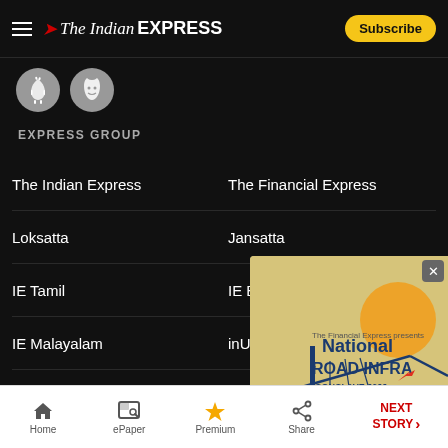The Indian Express — Subscribe
[Figure (logo): Android and iOS app store icons (circular grey buttons)]
EXPRESS GROUP
The Indian Express
The Financial Express
Loksatta
Jansatta
IE Tamil
IE Bangla
IE Malayalam
inUth
The ExpressGroup
Ramnath Goenka Awards
[Figure (illustration): National Road Infra Conclave 2022 advertisement banner showing a bridge and road]
Home | ePaper | Premium | Share | NEXT STORY